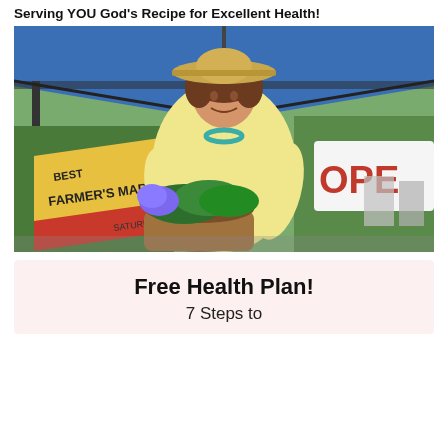Serving YOU God's Recipe for Excellent Health!
[Figure (photo): Woman in a straw hat and yellow sweater holding a basket of fresh greens and herbs at a farmer's market, with a 'Farmer's Market' sign and an 'OPEN' sign visible in the background under a blue tent canopy.]
Free Health Plan!
7 Steps to